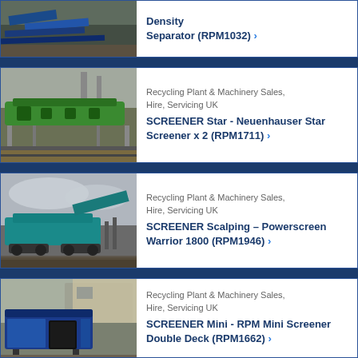[Figure (photo): Partial view of industrial equipment - density separator, blue metal components outdoors]
Density Separator (RPM1032) ›
[Figure (photo): Green star screener machine outdoors on gravel]
Recycling Plant & Machinery Sales, Hire, Servicing UK
SCREENER Star - Neuenhauser Star Screener x 2 (RPM1711) ›
[Figure (photo): Blue/teal Powerscreen Warrior 1800 scalping screener machine outdoors]
Recycling Plant & Machinery Sales, Hire, Servicing UK
SCREENER Scalping - Powerscreen Warrior 1800 (RPM1946) ›
[Figure (photo): Blue RPM Mini Screener Double Deck trailer unit in yard]
Recycling Plant & Machinery Sales, Hire, Servicing UK
SCREENER Mini - RPM Mini Screener Double Deck (RPM1662) ›